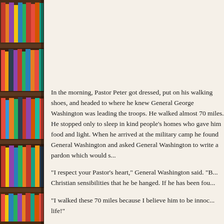[Figure (photo): Bookshelf filled with colorful books on the left side of the page]
In the morning, Pastor Peter got dressed, put on his walking shoes, and headed to where he knew General George Washington was leading the troops. He walked almost 70 miles. He stopped only to sleep in kind people's homes who gave him food and light. When he arrived at the military camp he found General Washington and asked General Washington to write a pardon which would s...
“I respect your Pastor’s heart,” General Washington said. “B... Christian sensibilities that he be hanged. If he has been fou...
“I walked these 70 miles because I believe him to be innoc... life!”
“I’m sorry,” General Washington said. “70 Miles is a long w... you!”